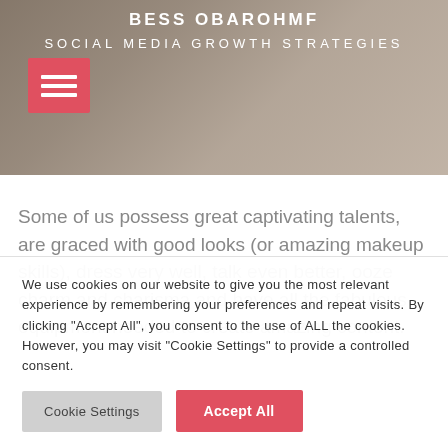BESS OBAROHMF
SOCIAL MEDIA GROWTH STRATEGIES
[Figure (photo): Header banner with background image showing a wooden floor surface with a person's foot/sandal visible, overlaid with a semi-transparent dark color. A red hamburger menu button is on the left side.]
Some of us possess great captivating talents, are graced with good looks (or amazing makeup skills), dress very well, talk even better, ooze charm and charisma and have all the fabulous equipment needed to create amazing content.
We use cookies on our website to give you the most relevant experience by remembering your preferences and repeat visits. By clicking "Accept All", you consent to the use of ALL the cookies. However, you may visit "Cookie Settings" to provide a controlled consent.